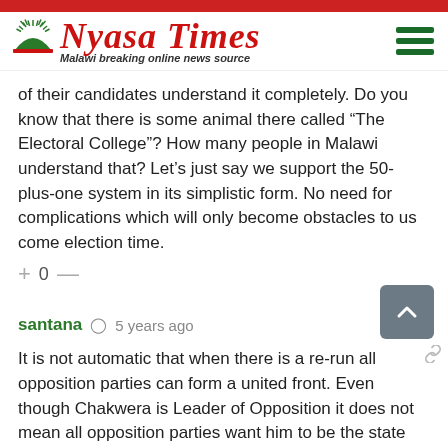Nyasa Times — Malawi breaking online news source
of their candidates understand it completely. Do you know that there is some animal there called “The Electoral College”? How many people in Malawi understand that? Let's just say we support the 50-plus-one system in its simplistic form. No need for complications which will only become obstacles to us come election time.
+ 0 —
santana  ○  5 years ago
It is not automatic that when there is a re-run all opposition parties can form a united front. Even though Chakwera is Leader of Opposition it does not mean all opposition parties want him to be the state president. He can be their leader in the opposition by design but it does not mean they can need